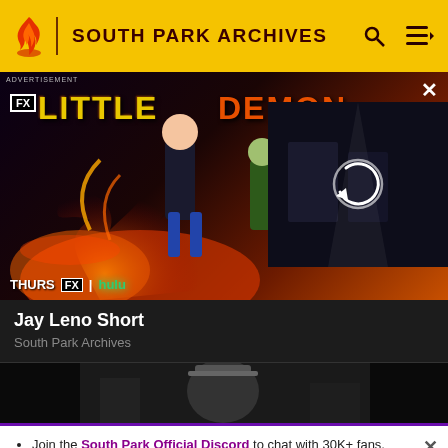SOUTH PARK ARCHIVES
[Figure (screenshot): Advertisement banner for FX 'Little Demon' animated show with characters and 'THURS FX | hulu' branding, with a video loading overlay on the right side]
Jay Leno Short
South Park Archives
[Figure (photo): Black and white photo thumbnail of a person wearing a cowboy hat]
Join the South Park Official Discord to chat with 30K+ fans, wiki editors and more!
South Park: The 25th Anniversary Concert is now out on Paramount Plus and Comedy Central.